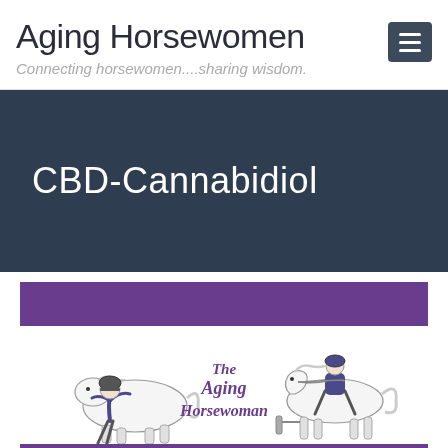Aging Horsewomen
Connecting horsewomen....sharing wisdom.
CBD-Cannabidiol
[Figure (illustration): The Aging Horsewoman logo: two cartoon illustrations of women with ponies/horses in black and white, with purple cursive 'The Aging Horsewoman' text in the center, framed by purple banners top and bottom.]